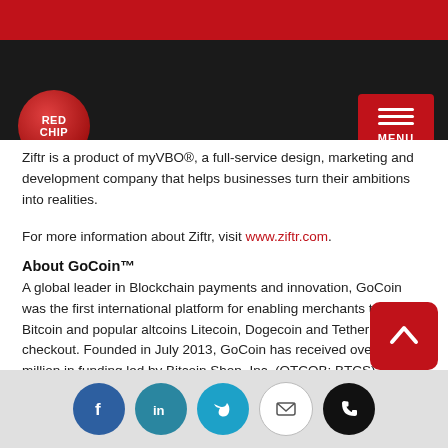REDCHIP / MENU
Ziftr is a product of myVBO®, a full-service design, marketing and development company that helps businesses turn their ambitions into realities.
For more information about Ziftr, visit www.ziftr.com.
About GoCoin™
A global leader in Blockchain payments and innovation, GoCoin was the first international platform for enabling merchants to accept Bitcoin and popular altcoins Litecoin, Dogecoin and Tether at checkout. Founded in July 2013, GoCoin has received over $2 million in funding led by Bitcoin Shop, Inc. (OTCQB: BTCS) and maintains offices in Singapore, London, Douglas and Santa Monica.
For more information about GoCoin, visit http://www.gocoin.c…
Disclaimer